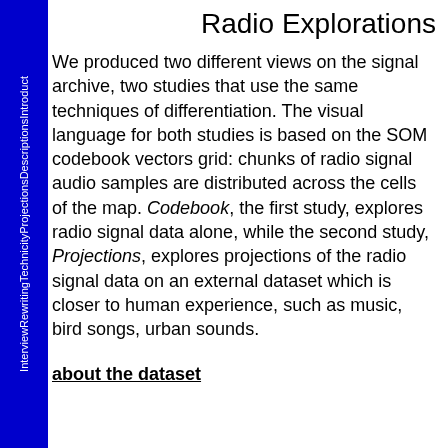InterviewRewritingTechnicityProjectionsDescriptionsIntroduct
Radio Explorations
We produced two different views on the signal archive, two studies that use the same techniques of differentiation. The visual language for both studies is based on the SOM codebook vectors grid: chunks of radio signal audio samples are distributed across the cells of the map. Codebook, the first study, explores radio signal data alone, while the second study, Projections, explores projections of the radio signal data on an external dataset which is closer to human experience, such as music, bird songs, urban sounds.
about the dataset